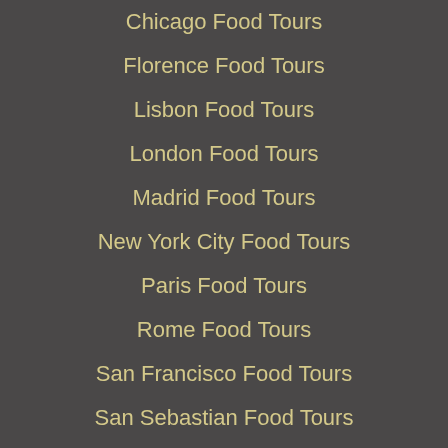Chicago Food Tours
Florence Food Tours
Lisbon Food Tours
London Food Tours
Madrid Food Tours
New York City Food Tours
Paris Food Tours
Rome Food Tours
San Francisco Food Tours
San Sebastian Food Tours
Seville Food Tours
Venice Food Tours